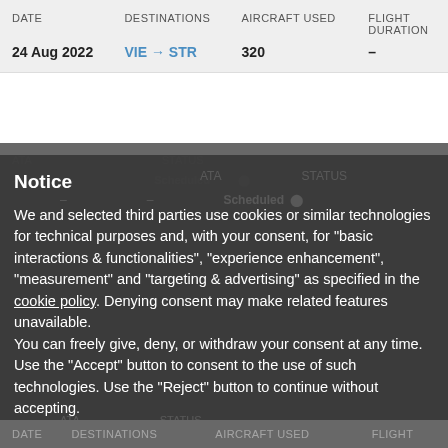| DATE | DESTINATIONS | AIRCRAFT USED | FLIGHT DURATION |
| --- | --- | --- | --- |
| 24 Aug 2022 | VIE → STR | 320 | – |
Notice
We and selected third parties use cookies or similar technologies for technical purposes and, with your consent, for "basic interactions & functionalities", "experience enhancement", "measurement" and "targeting & advertising" as specified in the cookie policy. Denying consent may make related features unavailable.
You can freely give, deny, or withdraw your consent at any time. Use the "Accept" button to consent to the use of such technologies. Use the "Reject" button to continue without accepting.
Reject
Accept
Learn more and customise